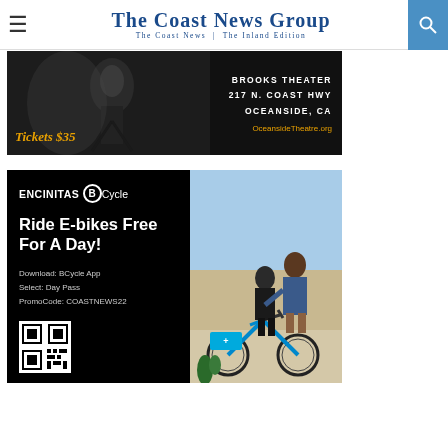The Coast News Group — The Coast News | The Inland Edition
[Figure (photo): Theater advertisement for Oceanside Theatre. Black background with silhouette image. Text: 'Tickets $35', 'BROOKS THEATER', '217 N. COAST HWY', 'OCEANSIDE, CA', 'OceansideTheatre.org']
[Figure (photo): Encinitas BCycle advertisement. Black background left panel with logo and text: 'ENCINITAS BCycle', 'Ride E-bikes Free For A Day!', 'Download: BCycle App', 'Select: Day Pass', 'PromoCode: COASTNEWS22', QR code. Right panel shows two people with blue BCycle electric bikes outdoors.]